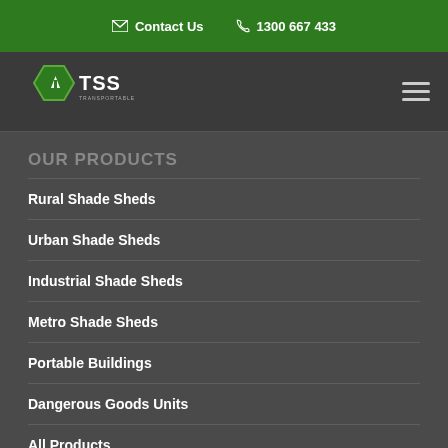Contact Us   1300 667 433
[Figure (logo): TSS Transportable Shade Sheds logo with green hexagon icon and white TSS text]
OUR PRODUCTS
Rural Shade Sheds
Urban Shade Sheds
Industrial Shade Sheds
Metro Shade Sheds
Portable Buildings
Dangerous Goods Units
All Products